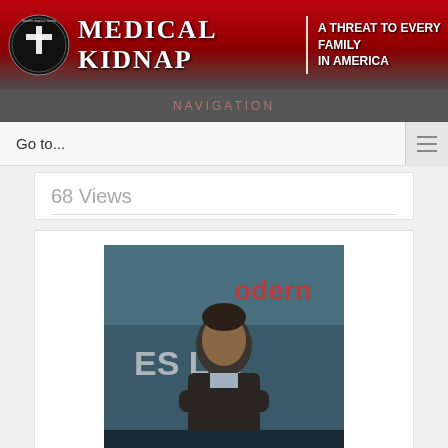[Figure (logo): Medical Kidnap website banner with red background, cross logo, title 'MEDICAL KIDNAP' and tagline 'A THREAT TO EVERY FAMILY IN AMERICA']
Go to...
68 Views
[Figure (photo): Photo of a man in a dark jacket standing in front of a Moderna banner sign]
RNA for Moderna's Omicron Booster Manufactured by CIA-Linked Company
50 Views